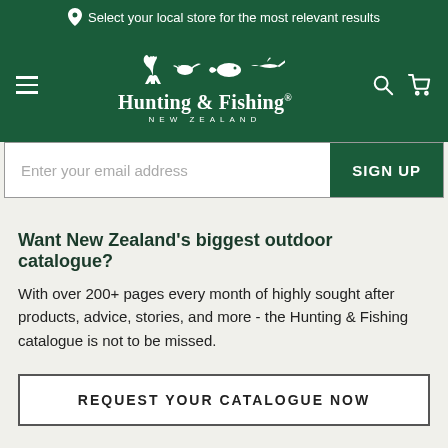Select your local store for the most relevant results
[Figure (logo): Hunting & Fishing New Zealand logo with animal silhouettes (deer, duck, fish, marlin) above the brand name]
Enter your email address
SIGN UP
Want New Zealand's biggest outdoor catalogue?
With over 200+ pages every month of highly sought after products, advice, stories, and more - the Hunting & Fishing catalogue is not to be missed.
REQUEST YOUR CATALOGUE NOW